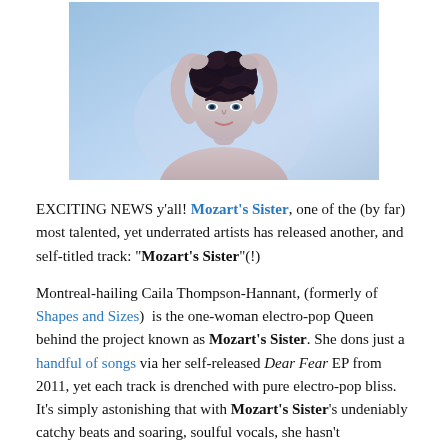[Figure (photo): A woman with dark curly hair looking upward, holding her hair with both hands raised above her head, shot against a light blue background. The image is cropped to show her face and upper body.]
EXCITING NEWS y'all! Mozart's Sister, one of the (by far) most talented, yet underrated artists has released another, and self-titled track: "Mozart's Sister"(!)
Montreal-hailing Caila Thompson-Hannant, (formerly of Shapes and Sizes)  is the one-woman electro-pop Queen behind the project known as Mozart's Sister. She dons just a handful of songs via her self-released Dear Fear EP from 2011, yet each track is drenched with pure electro-pop bliss. It's simply astonishing that with Mozart's Sister's undeniably catchy beats and soaring, soulful vocals, she hasn't skyrocketed to major superstardom